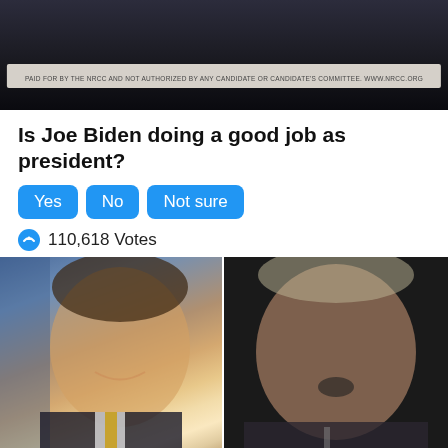[Figure (photo): Dark political advertisement image with a banner text: 'PAID FOR BY THE NRCC AND NOT AUTHORIZED BY ANY CANDIDATE OR CANDIDATE'S COMMITTEE. WWW.NRCC.ORG']
Is Joe Biden doing a good job as president?
Yes  No  Not sure
110,618 Votes
[Figure (photo): Side-by-side photos: left shows Ron DeSantis smiling in a suit with American flag background; right shows Joe Biden speaking with mouth open against a dark background]
Would you vote for Ron DeSantis or Joe Biden for president?